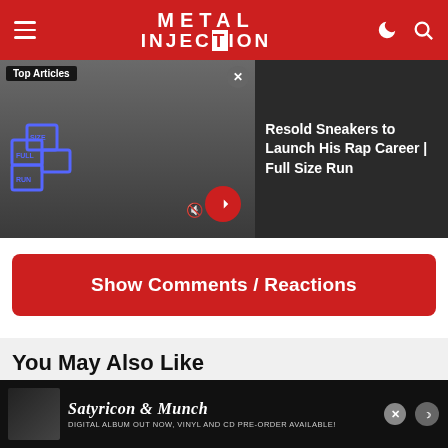Metal Injection
[Figure (screenshot): Banner showing Top Articles section with person image and sneaker boxes logo, article title: Resold Sneakers to Launch His Rap Career | Full Size Run]
Resold Sneakers to Launch His Rap Career | Full Size Run
Show Comments / Reactions
You May Also Like
[Figure (photo): Purple-tinted person photo thumbnail for related article]
COREY FELDMAN & MARILYN MANSON
[Figure (infographic): Advertisement for Satyricon & Munch album - Satyricon & Munch - Digital album out now, vinyl and CD pre-order available!]